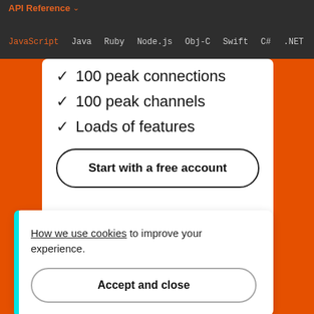API Reference
JavaScript  Java  Ruby  Node.js  Obj-C  Swift  C#  .NET
✓ 100 peak connections
✓ 100 peak channels
✓ Loads of features
Start with a free account
How we use cookies to improve your experience.
Accept and close